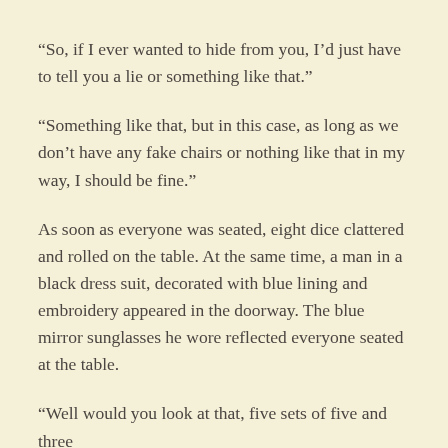“So, if I ever wanted to hide from you, I’d just have to tell you a lie or something like that.”
“Something like that, but in this case, as long as we don’t have any fake chairs or nothing like that in my way, I should be fine.”
As soon as everyone was seated, eight dice clattered and rolled on the table. At the same time, a man in a black dress suit, decorated with blue lining and embroidery appeared in the doorway. The blue mirror sunglasses he wore reflected everyone seated at the table.
“Well would you look at that, five sets of five and three